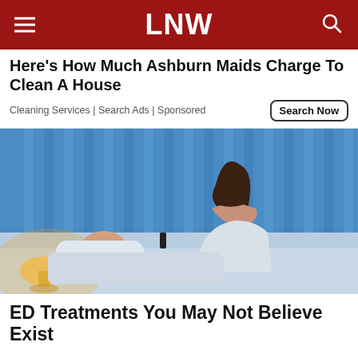LNW
Here's How Much Ashburn Maids Charge To Clean A House
Cleaning Services | Search Ads | Sponsored
[Figure (photo): Woman sitting up in bed at night looking distressed while man sleeps beside her, blue-tinted bedroom with vertical blinds in background, warm lamp light on left side]
ED Treatments You May Not Believe Exist